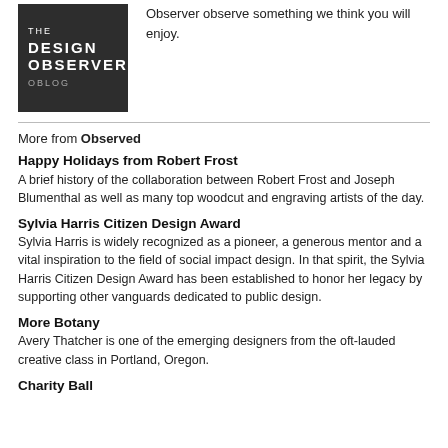[Figure (logo): The Design Observer Oblog logo — white text on dark grey/black background]
Observer observe something we think you will enjoy.
More from Observed
Happy Holidays from Robert Frost
A brief history of the collaboration between Robert Frost and Joseph Blumenthal as well as many top woodcut and engraving artists of the day.
Sylvia Harris Citizen Design Award
Sylvia Harris is widely recognized as a pioneer, a generous mentor and a vital inspiration to the field of social impact design. In that spirit, the Sylvia Harris Citizen Design Award has been established to honor her legacy by supporting other vanguards dedicated to public design.
More Botany
Avery Thatcher is one of the emerging designers from the oft-lauded creative class in Portland, Oregon.
Charity Ball